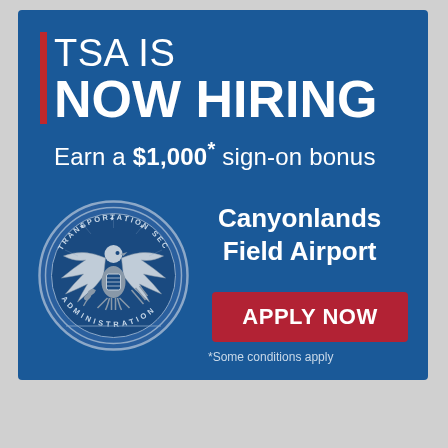TSA IS NOW HIRING
Earn a $1,000* sign-on bonus
[Figure (logo): Transportation Security Administration official seal — circular seal with eagle, text 'TRANSPORTATION SECURITY ADMINISTRATION' around border]
Canyonlands Field Airport
APPLY NOW
*Some conditions apply